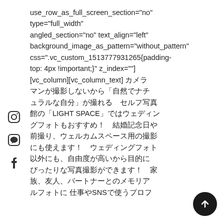use_row_as_full_screen_section="no" type="full_width" angled_section="no" text_align="left" background_image_as_pattern="without_pattern" css=".vc_custom_1513777931265{padding-top: 4px !important;}" z_index=""] [vc_column][vc_column_text] カメラマンが撮影しないから「自然でナチュラルな自分」が撮れる　セルフ写真館の「LIGHT SPACE」ではウェディングフォトもおすすめ！　結婚記念日や前撮り、ウェルカムスペース用の撮影にも使えます！　ウェディングフォト以外にも、自由度が高いから目的にぴったりな写真撮影ができます！　家族、友人、パートナーとのメモリアルフォトに 仕事やSNSで使うプロフ